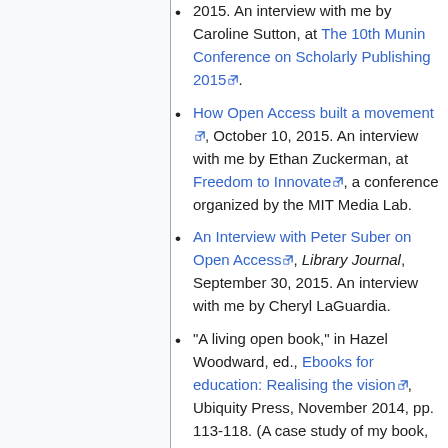2015. An interview with me by Caroline Sutton, at The 10th Munin Conference on Scholarly Publishing 2015.
How Open Access built a movement, October 10, 2015. An interview with me by Ethan Zuckerman, at Freedom to Innovate, a conference organized by the MIT Media Lab.
An Interview with Peter Suber on Open Access, Library Journal, September 30, 2015. An interview with me by Cheryl LaGuardia.
"A living open book," in Hazel Woodward, ed., Ebooks for education: Realising the vision, Ubiquity Press, November 2014, pp. 113-118. (A case study of my book,